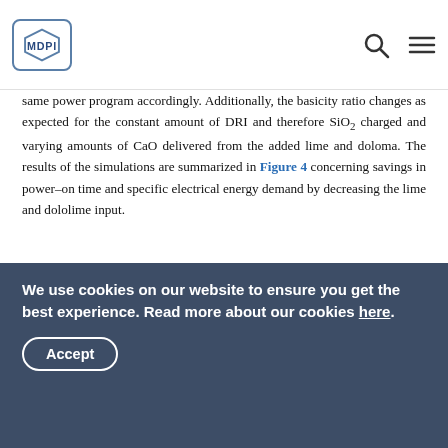MDPI
same power program accordingly. Additionally, the basicity ratio changes as expected for the constant amount of DRI and therefore SiO2 charged and varying amounts of CaO delivered from the added lime and doloma. The results of the simulations are summarized in Figure 4 concerning savings in power–on time and specific electrical energy demand by decreasing the lime and dololime input.
[Figure (line-chart): Line chart showing two series (blue squares and red circles) plotting savings vs lime/dololime input reduction. Y-axis left: savings (kWh/t) from 0 to -20+; Y-axis right: savings (min) from 0.0 to -1.0+. Blue line with squares shows energy savings, red line with circles shows time savings.]
We use cookies on our website to ensure you get the best experience. Read more about our cookies here.
Accept